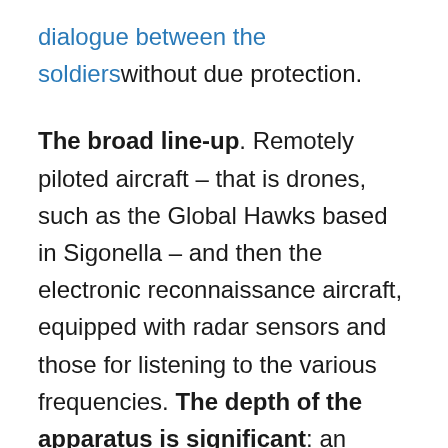dialogue between the soldiers without due protection.
The broad line-up. Remotely piloted aircraft – that is drones, such as the Global Hawks based in Sigonella – and then the electronic reconnaissance aircraft, equipped with radar sensors and those for listening to the various frequencies. The depth of the apparatus is significant: an Awacs, one of NATO's flying radars, can see a